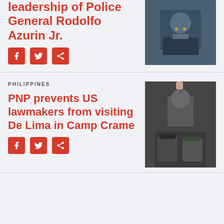leadership of Police General Rodolfo Azurin Jr.
[Figure (photo): Photo of a police general in uniform seated at a microphone]
[Figure (other): Social share icons: Facebook, Twitter, Share]
PHILIPPINES
PNP prevents US lawmakers from visiting De Lima in Camp Crame
[Figure (photo): Photo of De Lima with fist raised surrounded by people]
[Figure (other): Social share icons: Facebook, Twitter, Share]